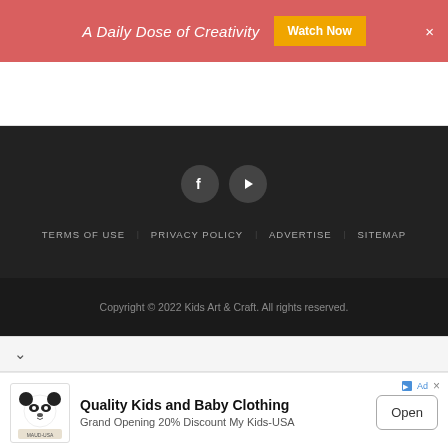A Daily Dose of Creativity  Watch Now  ×
[Figure (screenshot): White space area / navigation bar background]
[Figure (screenshot): Dark footer section with Facebook and YouTube social icons and navigation links: TERMS OF USE, PRIVACY POLICY, ADVERTISE, SITEMAP]
Copyright © 2022 Kids Art & Craft. All rights reserved.
[Figure (screenshot): Advertisement banner: Quality Kids and Baby Clothing, Grand Opening 20% Discount My Kids-USA, with Open button and panda logo]